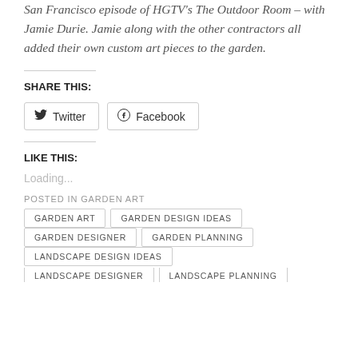San Francisco episode of HGTV's The Outdoor Room – with Jamie Durie. Jamie along with the other contractors all added their own custom art pieces to the garden.
SHARE THIS:
Twitter  Facebook
LIKE THIS:
Loading...
POSTED IN GARDEN ART
GARDEN ART
GARDEN DESIGN IDEAS
GARDEN DESIGNER
GARDEN PLANNING
LANDSCAPE DESIGN IDEAS
LANDSCAPE DESIGNER
LANDSCAPE PLANNING